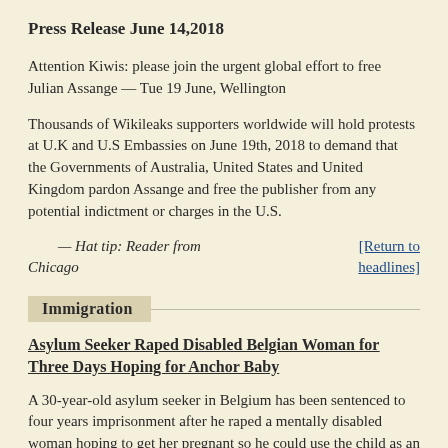Press Release June 14,2018
Attention Kiwis: please join the urgent global effort to free Julian Assange — Tue 19 June, Wellington
Thousands of Wikileaks supporters worldwide will hold protests at U.K and U.S Embassies on June 19th, 2018 to demand that the Governments of Australia, United States and United Kingdom pardon Assange and free the publisher from any potential indictment or charges in the U.S.
— Hat tip: Reader from Chicago
[Return to headlines]
Immigration
Asylum Seeker Raped Disabled Belgian Woman for Three Days Hoping for Anchor Baby
A 30-year-old asylum seeker in Belgium has been sentenced to four years imprisonment after he raped a mentally disabled woman hoping to get her pregnant so he could use the child as an excuse to remain in the